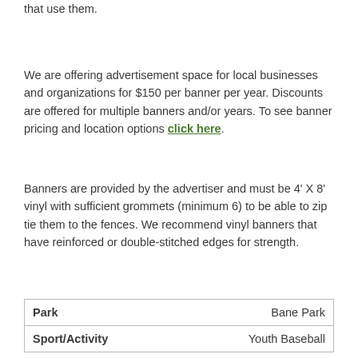that use them.
We are offering advertisement space for local businesses and organizations for $150 per banner per year. Discounts are offered for multiple banners and/or years. To see banner pricing and location options click here.
Banners are provided by the advertiser and must be 4' X 8' vinyl with sufficient grommets (minimum 6) to be able to zip tie them to the fences. We recommend vinyl banners that have reinforced or double-stitched edges for strength.
| Park |  |
| --- | --- |
| Park | Bane Park |
| Sport/Activity | Youth Baseball |